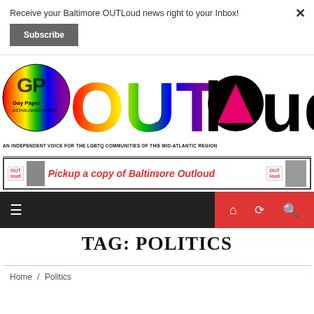Receive your Baltimore OUTLoud news right to your Inbox!
Subscribe
[Figure (logo): GP OUTloud Gay Paper Established 1973 rainbow logo with pink triangle]
AN INDEPENDENT VOICE FOR THE LGBTQ COMMUNITIES OF THE MID-ATLANTIC REGION
[Figure (infographic): Banner ad: Pickup a copy of Baltimore Outloud]
[Figure (infographic): Navigation bar with hamburger menu and home/shuffle/search icons]
TAG: POLITICS
Home / Politics